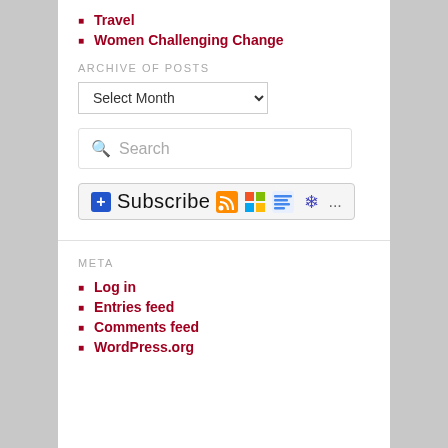Travel
Women Challenging Change
ARCHIVE OF POSTS
Select Month (dropdown)
Search (search box)
[Figure (other): Subscribe button with RSS, Windows, Google Reader, and other feed icons]
META
Log in
Entries feed
Comments feed
WordPress.org